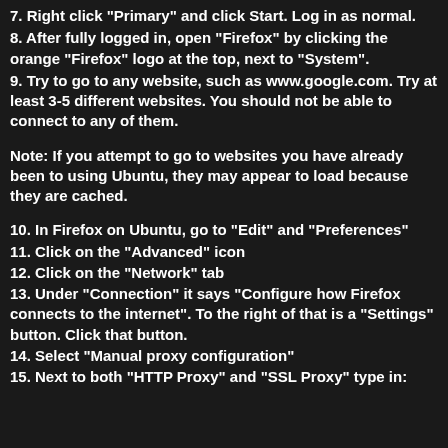7. Right click "Primary" and click Start. Log in as normal.
8. After fully logged in, open "Firefox" by clicking the orange "Firefox" logo at the top, next to "System".
9. Try to go to any website, such as www.google.com. Try at least 3-5 different websites. You should not be able to connect to any of them.
Note: If you attempt to go to websites you have already been to using Ubuntu, they may appear to load because they are cached.
10. In Firefox on Ubuntu, go to "Edit" and "Preferences"
11. Click on the "Advanced" icon
12. Click on the "Network" tab
13. Under "Connection" it says "Configure how Firefox connects to the internet". To the right of that is a "Settings" button. Click that button.
14. Select "Manual proxy configuration"
15. Next to both "HTTP Proxy" and "SSL Proxy" type in: